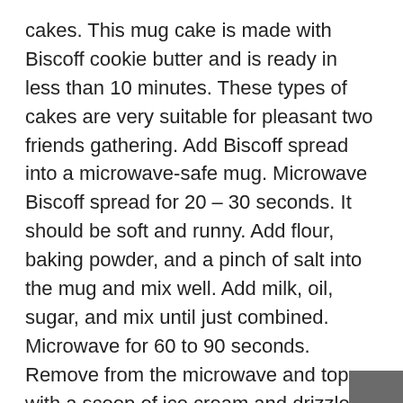cakes. This mug cake is made with Biscoff cookie butter and is ready in less than 10 minutes. These types of cakes are very suitable for pleasant two friends gathering. Add Biscoff spread into a microwave-safe mug. Microwave Biscoff spread for 20 – 30 seconds. It should be soft and runny. Add flour, baking powder, and a pinch of salt into the mug and mix well. Add milk, oil, sugar, and mix until just combined. Microwave for 60 to 90 seconds. Remove from the microwave and top with a scoop of ice cream and drizzle warm Biscoff cookie butter. Lotus Biscoff Milkshake This Biscoff milkshake is creamy, thick, topped with crushed Biscoff biscuits and melted cookie spread. Delicious summer treat that everyone will love! This cool summer drink does not have a specific method of preparation and you can use different ingredients to make it according to your taste. Cookies, Nutella, Oreo Biscuits, and Lotus Biscoff cookies and spread are some of the ingredients that can be used to make delicious and creative milkshakes. Lotus Biscoff Pancakes Due to the simplicity of making pancakes, it is generally preferred for breakfast. Although pancakes can be cooked savory or sweet.